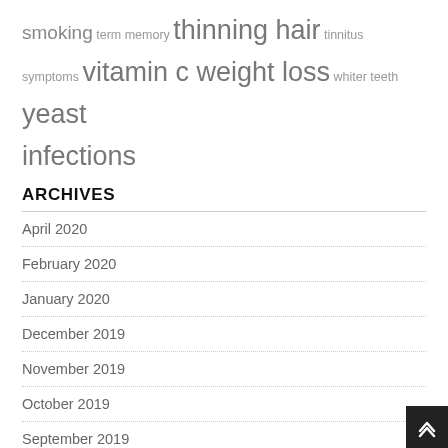smoking term memory thinning hair tinnitus symptoms vitamin c weight loss whiter teeth yeast infections
ARCHIVES
April 2020
February 2020
January 2020
December 2019
November 2019
October 2019
September 2019